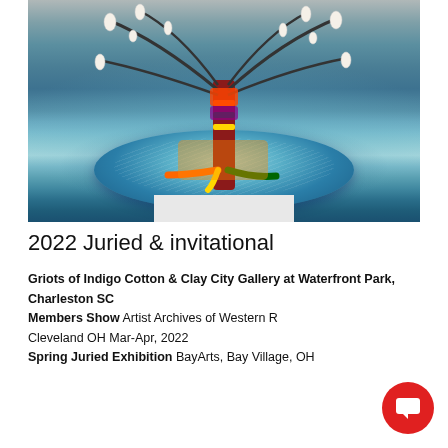[Figure (photo): A colorful sculptural artwork resembling a tree or plant with fabric-wrapped branches adorned with cowrie shells, placed on a large blue ceramic disc/plate on a white pedestal, photographed against a gray wall.]
2022 Juried & invitational
Griots of Indigo Cotton & Clay City Gallery at Waterfront Park, Charleston SC Members Show Artist Archives of Western Reserve Cleveland OH Mar-Apr, 2022 Spring Juried Exhibition BayArts, Bay Village, OH